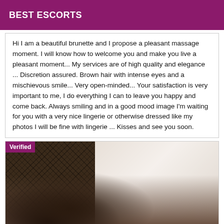BEST ESCORTS
Hi I am a beautiful brunette and I propose a pleasant massage moment. I will know how to welcome you and make you live a pleasant moment... My services are of high quality and elegance ... Discretion assured. Brown hair with intense eyes and a mischievous smile... Very open-minded... Your satisfaction is very important to me, I do everything I can to leave you happy and come back. Always smiling and in a good mood image I'm waiting for you with a very nice lingerie or otherwise dressed like my photos I will be fine with lingerie ... Kisses and see you soon.
[Figure (photo): Photo of a person wearing black fishnet stockings, lying on a surface with white fabric/lingerie. A purple 'Verified' badge is shown in the top-left corner of the image.]